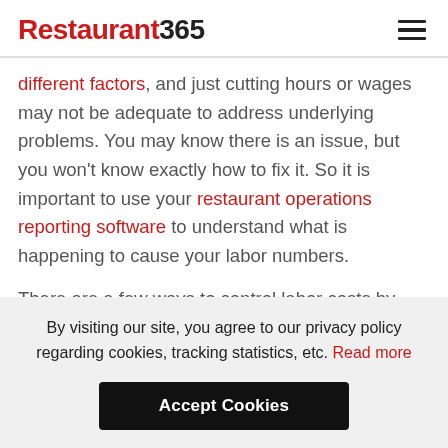Restaurant365
different factors, and just cutting hours or wages may not be adequate to address underlying problems. You may know there is an issue, but you won't know exactly how to fix it. So it is important to use your restaurant operations reporting software to understand what is happening to cause your labor numbers.
There are a few ways to control labor costs by
By visiting our site, you agree to our privacy policy regarding cookies, tracking statistics, etc. Read more
Accept Cookies